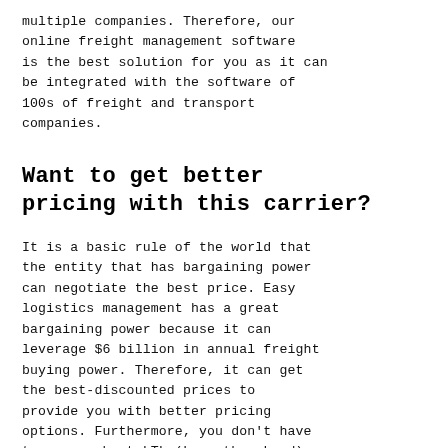multiple companies. Therefore, our online freight management software is the best solution for you as it can be integrated with the software of 100s of freight and transport companies.
Want to get better pricing with this carrier?
It is a basic rule of the world that the entity that has bargaining power can negotiate the best price. Easy logistics management has a great bargaining power because it can leverage $6 billion in annual freight buying power. Therefore, it can get the best-discounted prices to provide you with better pricing options. Furthermore, you don't have to worry about LTL (Less than Load) because Easy logistics management has a lot of loads to adjust. Therefore, you will get better pricing. On top of that, you will save the costs of managing because our easy-